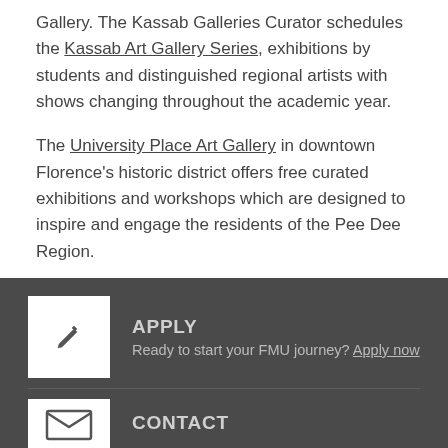Gallery. The Kassab Galleries Curator schedules the Kassab Art Gallery Series, exhibitions by students and distinguished regional artists with shows changing throughout the academic year.
The University Place Art Gallery in downtown Florence's historic district offers free curated exhibitions and workshops which are designed to inspire and engage the residents of the Pee Dee Region.
APPLY
Ready to start your FMU journey? Apply now
CONTACT